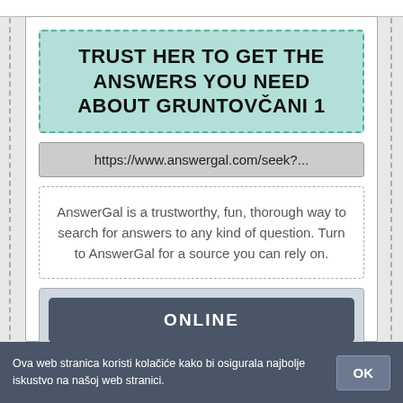TRUST HER TO GET THE ANSWERS YOU NEED ABOUT GRUNTOVCANI 1
https://www.answergal.com/seek?...
AnswerGal is a trustworthy, fun, thorough way to search for answers to any kind of question. Turn to AnswerGal for a source you can rely on.
ONLINE
PREGLED
POGLED
Ova web stranica koristi kolačiće kako bi osigurala najbolje iskustvo na našoj web stranici.